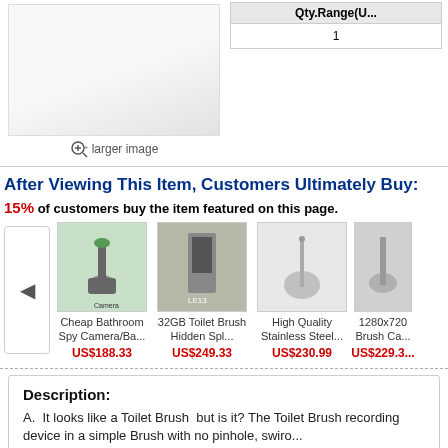[Figure (photo): Product image of a white toilet brush/cylindrical object on white background]
larger image
| Qty.Range(U... |
| --- |
| 1 |
After Viewing This Item, Customers Ultimately Buy:
15% of customers buy the item featured on this page.
[Figure (photo): Cheap Bathroom Spy Camera/Ba... - product thumbnail showing camera hidden in plant/brush]
[Figure (photo): 32GB Toilet Brush Hidden Spl... - product thumbnail showing toilet brush with hidden camera]
[Figure (photo): High Quality Stainless Steel... - product thumbnail showing stainless steel toilet brush]
[Figure (photo): 1280x720 Brush Ca... - product thumbnail showing chrome brush camera]
Cheap Bathroom Spy Camera/Ba...
US$188.33
32GB Toilet Brush Hidden Spl...
US$249.33
High Quality Stainless Steel...
US$230.99
1280x720 Brush Ca...
US$229.3...
Description:
A.  It looks like a Toilet Brush  but is it? The Toilet Brush recording device in a simple Brush with no pinhole, swiro...